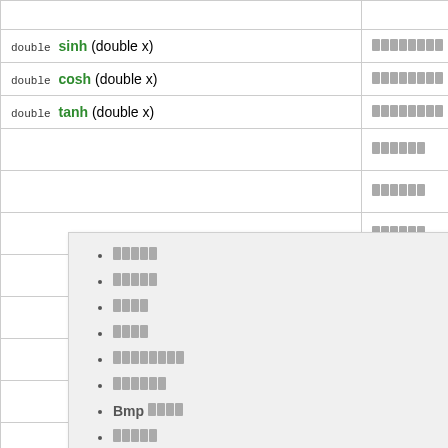| Function Signature | Description |
| --- | --- |
| double sinh (double x) | ████████ |
| double cosh (double x) | ████████ |
| double tanh (double x) | ████████ |
|  | ██████ |
|  | ██████ |
|  | ██████ |
|  | █ y/x █ |
|  | ████████ |
|  | ██ x ███ |
|  | ██ x ███ |
|  | ██ x █ y |
|  | ██ x ███ |
|  | ██ x ███ |
|  | ██ x ███ |
█████
█████
████
████
████████
██████
Bmp ████
█████
████
██████
██████
██████